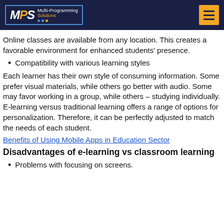MPS Multi-Programming Solutions
Online classes are available from any location. This creates a favorable environment for enhanced students' presence.
Compatibility with various learning styles
Each learner has their own style of consuming information. Some prefer visual materials, while others go better with audio. Some may favor working in a group, while others – studying individually. E-learning versus traditional learning offers a range of options for personalization. Therefore, it can be perfectly adjusted to match the needs of each student.
Benefits of Using Mobile Apps in Education Sector
Disadvantages of e-learning vs classroom learning
Problems with focusing on screens.